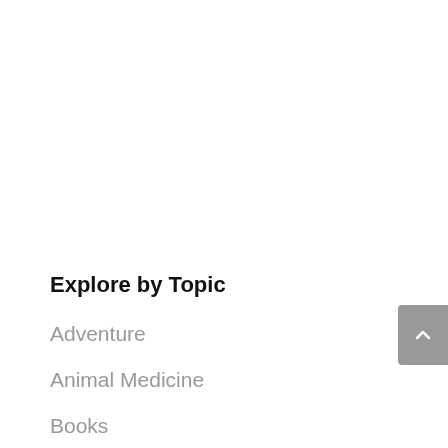Explore by Topic
Adventure
Animal Medicine
Books
Crystals